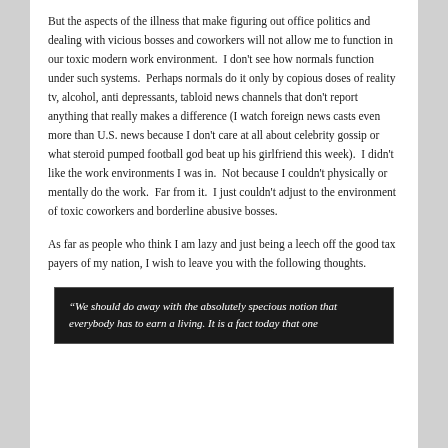But the aspects of the illness that make figuring out office politics and dealing with vicious bosses and coworkers will not allow me to function in our toxic modern work environment.  I don't see how normals function under such systems.  Perhaps normals do it only by copious doses of reality tv, alcohol, anti depressants, tabloid news channels that don't report anything that really makes a difference (I watch foreign news casts even more than U.S. news because I don't care at all about celebrity gossip or what steroid pumped football god beat up his girlfriend this week).  I didn't like the work environments I was in.  Not because I couldn't physically or mentally do the work.  Far from it.  I just couldn't adjust to the environment of toxic coworkers and borderline abusive bosses.
As far as people who think I am lazy and just being a leech off the good tax payers of my nation, I wish to leave you with the following thoughts.
[Figure (other): Dark/black background quote box with white italic text reading: "We should do away with the absolutely specious notion that everybody has to earn a living. It is a fact today that one...]